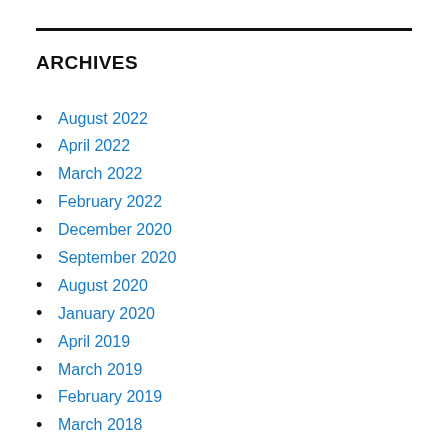ARCHIVES
August 2022
April 2022
March 2022
February 2022
December 2020
September 2020
August 2020
January 2020
April 2019
March 2019
February 2019
March 2018